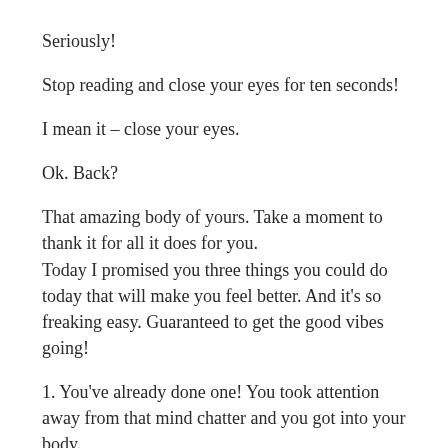Seriously!
Stop reading and close your eyes for ten seconds!
I mean it – close your eyes.
Ok. Back?
That amazing body of yours. Take a moment to thank it for all it does for you.
Today I promised you three things you could do today that will make you feel better. And it's so freaking easy. Guaranteed to get the good vibes going!
1. You've already done one! You took attention away from that mind chatter and you got into your body.